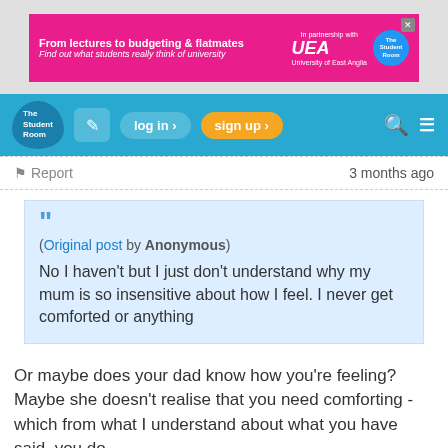[Figure (screenshot): Advertisement banner for The Student Room and UEA partnership: 'From lectures to budgeting & flatmates - Find out what students really think of university']
[Figure (screenshot): The Student Room navigation bar with logo, edit icon, log in, sign up, search, and menu buttons]
Report  3 months ago
(Original post by Anonymous)
No I haven't but I just don't understand why my mum is so insensitive about how I feel. I never get comforted or anything
Or maybe does your dad know how you're feeling? Maybe she doesn't realise that you need comforting - which from what I understand about what you have said, you do.
0
reply